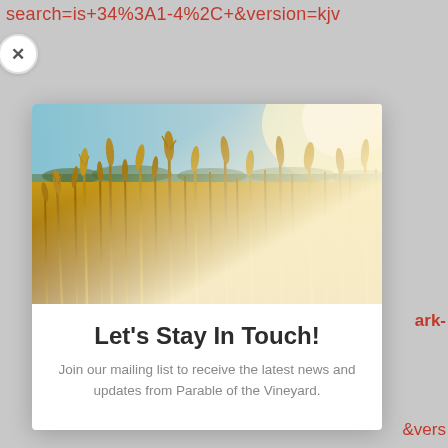search=is+34%3A1-4%2C+&version=kjv
[Figure (photo): A close-up photograph of golden wheat stalks in a field with bright sunlight in the upper right corner and a blue sky in the background.]
Let's Stay In Touch!
Join our mailing list to receive the latest news and updates from Parable of the Vineyard.
ark-
&vers